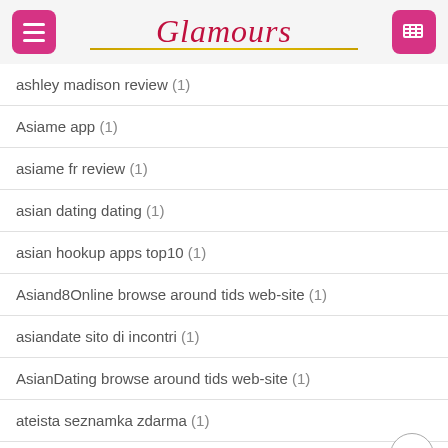Glamours
ashley madison review (1)
Asiame app (1)
asiame fr review (1)
asian dating dating (1)
asian hookup apps top10 (1)
Asiand8Online browse around tids web-site (1)
asiandate sito di incontri (1)
AsianDating browse around tids web-site (1)
ateista seznamka zdarma (1)
atheist dating sign in (1)